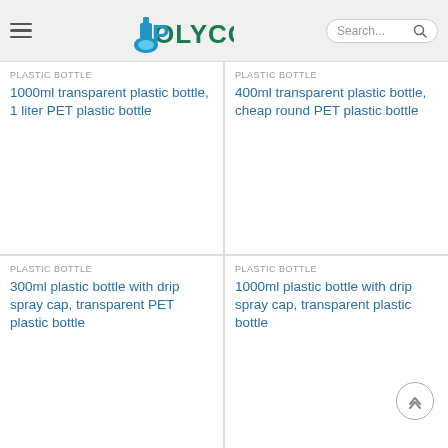POLYCO – Search
PLASTIC BOTTLE
1000ml transparent plastic bottle, 1 liter PET plastic bottle
PLASTIC BOTTLE
400ml transparent plastic bottle, cheap round PET plastic bottle
PLASTIC BOTTLE
300ml plastic bottle with drip spray cap, transparent PET plastic bottle
PLASTIC BOTTLE
1000ml plastic bottle with drip spray cap, transparent plastic bottle